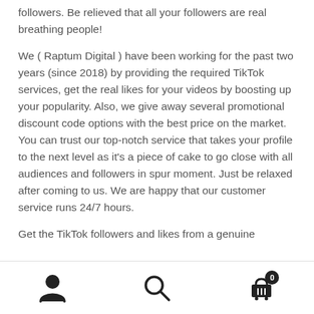followers. Be relieved that all your followers are real breathing people!
We ( Raptum Digital ) have been working for the past two years (since 2018) by providing the required TikTok services, get the real likes for your videos by boosting up your popularity. Also, we give away several promotional discount code options with the best price on the market. You can trust our top-notch service that takes your profile to the next level as it's a piece of cake to go close with all audiences and followers in spur moment. Just be relaxed after coming to us. We are happy that our customer service runs 24/7 hours.
Get the TikTok followers and likes from a genuine
User icon, Search icon, Cart icon with badge 0